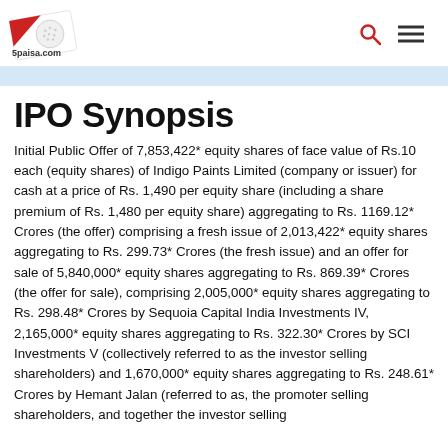5paisa.com
IPO Synopsis
Initial Public Offer of 7,853,422* equity shares of face value of Rs.10 each (equity shares) of Indigo Paints Limited (company or issuer) for cash at a price of Rs. 1,490 per equity share (including a share premium of Rs. 1,480 per equity share) aggregating to Rs. 1169.12* Crores (the offer) comprising a fresh issue of 2,013,422* equity shares aggregating to Rs. 299.73* Crores (the fresh issue) and an offer for sale of 5,840,000* equity shares aggregating to Rs. 869.39* Crores (the offer for sale), comprising 2,005,000* equity shares aggregating to Rs. 298.48* Crores by Sequoia Capital India Investments IV, 2,165,000* equity shares aggregating to Rs. 322.30* Crores by SCI Investments V (collectively referred to as the investor selling shareholders) and 1,670,000* equity shares aggregating to Rs. 248.61* Crores by Hemant Jalan (referred to as, the promoter selling shareholders, and together the investor selling